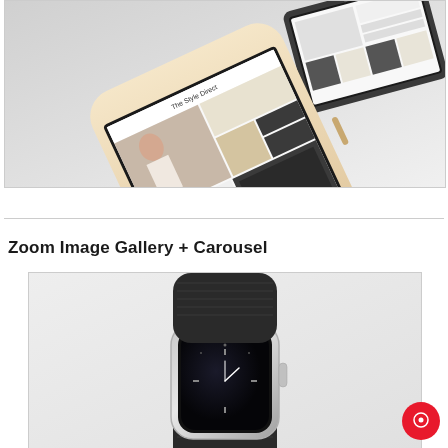[Figure (screenshot): Product mockup showing an iPhone and iPad/tablet device displaying an e-commerce website with fashion and jewelry products. The iPhone is gold/white colored in the foreground, and a dark tablet is partially visible behind it. The screens show a grid-based shopping layout with product images including a woman, jewelry items, and other products in black, white, and tan/beige color scheme.]
Zoom Image Gallery + Carousel
[Figure (photo): Apple Watch displayed against a light gray background, showing the watch face with a black sport band. The watch is shown at an angle with the digital crown visible on the side.]